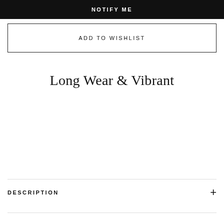NOTIFY ME
ADD TO WISHLIST
Long Wear & Vibrant
DESCRIPTION